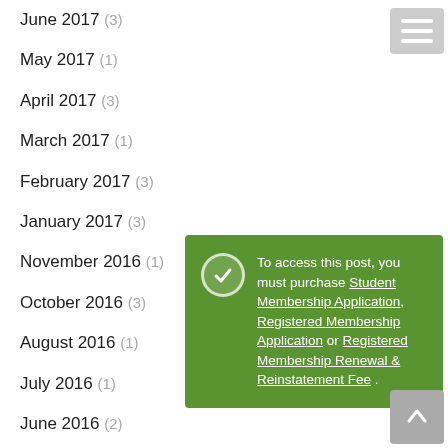June 2017 (3)
May 2017 (1)
April 2017 (3)
March 2017 (1)
February 2017 (3)
January 2017 (3)
November 2016 (1)
October 2016 (3)
August 2016 (1)
July 2016 (1)
June 2016 (2)
May 2016 (3)
April 2016 (1)
March 2016 (1)
February 2016 (3)
January 2016 (1)
To access this post, you must purchase Student Membership Application, Registered Membership Application or Registered Membership Renewal & Reinstatement Fee .